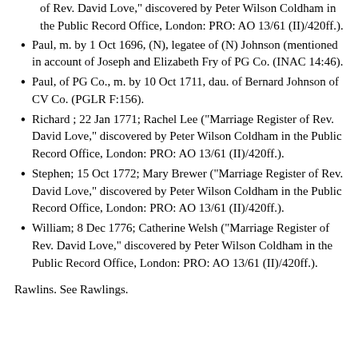of Rev. David Love," discovered by Peter Wilson Coldham in the Public Record Office, London: PRO: AO 13/61 (II)/420ff.).
Paul, m. by 1 Oct 1696, (N), legatee of (N) Johnson (mentioned in account of Joseph and Elizabeth Fry of PG Co. (INAC 14:46).
Paul, of PG Co., m. by 10 Oct 1711, dau. of Bernard Johnson of CV Co. (PGLR F:156).
Richard ; 22 Jan 1771; Rachel Lee ("Marriage Register of Rev. David Love," discovered by Peter Wilson Coldham in the Public Record Office, London: PRO: AO 13/61 (II)/420ff.).
Stephen; 15 Oct 1772; Mary Brewer ("Marriage Register of Rev. David Love," discovered by Peter Wilson Coldham in the Public Record Office, London: PRO: AO 13/61 (II)/420ff.).
William; 8 Dec 1776; Catherine Welsh ("Marriage Register of Rev. David Love," discovered by Peter Wilson Coldham in the Public Record Office, London: PRO: AO 13/61 (II)/420ff.).
Rawlins. See Rawlings.